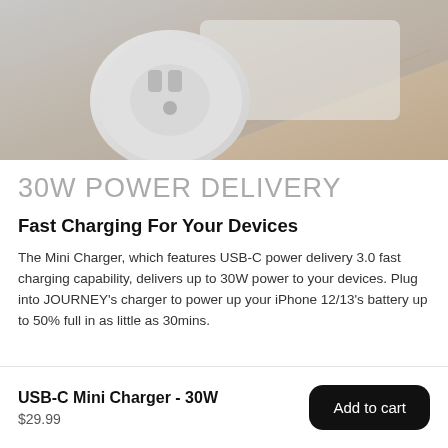[Figure (photo): Close-up photo of a white USB-C mini charger on a light wooden surface, showing the plug prongs and round base.]
30W POWER DELIVERY
Fast Charging For Your Devices
The Mini Charger, which features USB-C power delivery 3.0 fast charging capability, delivers up to 30W power to your devices. Plug into JOURNEY's charger to power up your iPhone 12/13's battery up to 50% full in as little as 30mins.
USB-C Mini Charger - 30W
$29.99
Add to cart